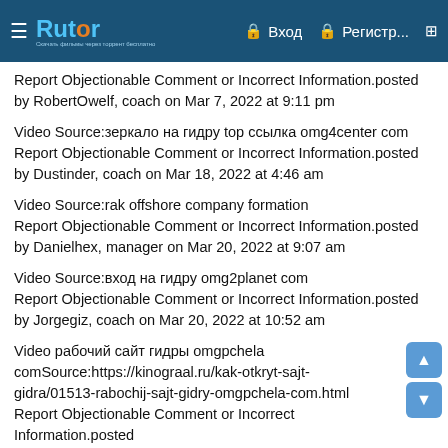Rutor — Вход — Регистр...
Report Objectionable Comment or Incorrect Information.posted by RobertOwelf, coach on Mar 7, 2022 at 9:11 pm
Video Source:зеркало на гидру top ссылка omg4center com
Report Objectionable Comment or Incorrect Information.posted by Dustinder, coach on Mar 18, 2022 at 4:46 am
Video Source:rak offshore company formation
Report Objectionable Comment or Incorrect Information.posted by Danielhex, manager on Mar 20, 2022 at 9:07 am
Video Source:вход на гидру omg2planet com
Report Objectionable Comment or Incorrect Information.posted by Jorgegiz, coach on Mar 20, 2022 at 10:52 am
Video рабочий сайт гидры omgpchela comSource:https://kinograal.ru/kak-otkryt-sajt-gidra/01513-rabochij-sajt-gidry-omgpchela-com.html
Report Objectionable Comment or Incorrect Information.posted